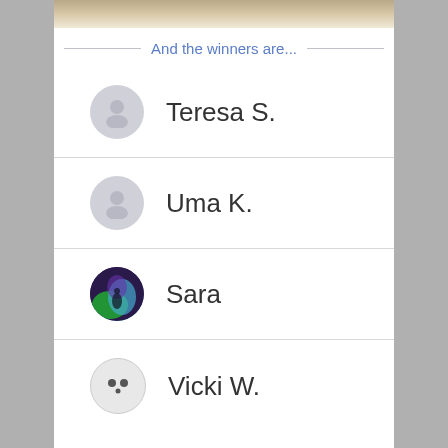[Figure (photo): Partial photo strip at the top of the page showing people in the background]
And the winners are...
Teresa S.
Uma K.
Sara
Vicki W.